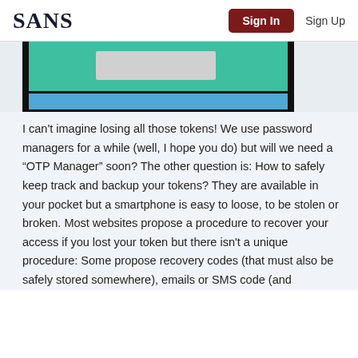SANS  Sign In  Sign Up
[Figure (screenshot): Partial screenshot showing a teal/green and blue UI element with a light gray rectangle in the center, visible at the top of the content area.]
I can't imagine losing all those tokens! We use password managers for a while (well, I hope you do) but will we need a “OTP Manager” soon? The other question is: How to safely keep track and backup your tokens? They are available in your pocket but a smartphone is easy to loose, to be stolen or broken. Most websites propose a procedure to recover your access if you lost your token but there isn't a unique procedure: Some propose recovery codes (that must also be safely stored somewhere), emails or SMS code (and